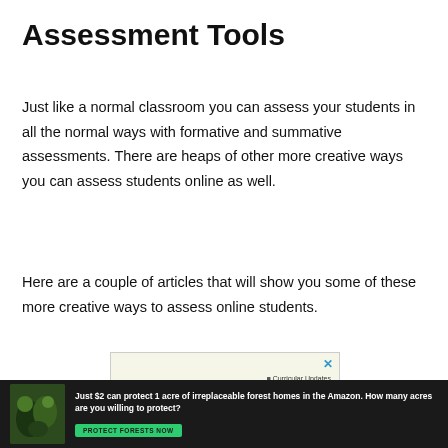Assessment Tools
Just like a normal classroom you can assess your students in all the normal ways with formative and summative assessments.  There are heaps of other more creative ways you can assess students online as well.
Here are a couple of articles that will show you some of these more creative ways to assess online students.
[Figure (screenshot): A popup dialog box with a light cream background, a blue X close button in the top right, text reading 'Curricular Updates' with a bullet, and a horizontal divider line.]
[Figure (screenshot): An advertisement banner with dark background showing a forest image on the left, bold text reading 'Just $2 can protect 1 acre of irreplaceable forest homes in the Amazon. How many acres are you willing to protect?' and a green button labeled 'PROTECT FORESTS NOW'.]